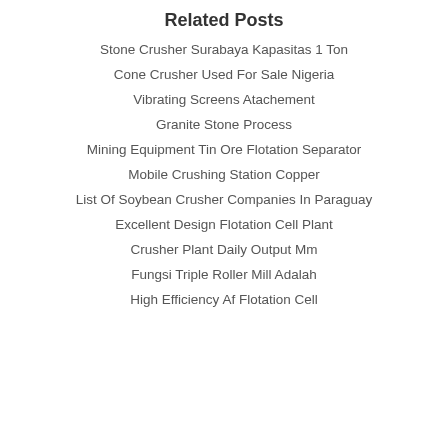Related Posts
Stone Crusher Surabaya Kapasitas 1 Ton
Cone Crusher Used For Sale Nigeria
Vibrating Screens Atachement
Granite Stone Process
Mining Equipment Tin Ore Flotation Separator
Mobile Crushing Station Copper
List Of Soybean Crusher Companies In Paraguay
Excellent Design Flotation Cell Plant
Crusher Plant Daily Output Mm
Fungsi Triple Roller Mill Adalah
High Efficiency Af Flotation Cell